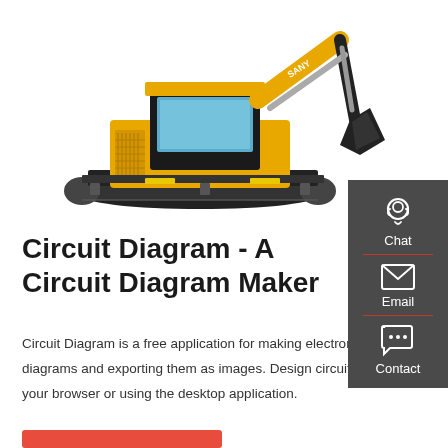[Figure (photo): Yellow SANY excavator/digger machine on white background, showing the full body with tracks, cab, arm and bucket extended to the right]
Circuit Diagram - A Circuit Diagram Maker
Circuit Diagram is a free application for making electronic circuit diagrams and exporting them as images. Design circuits online in your browser or using the desktop application.